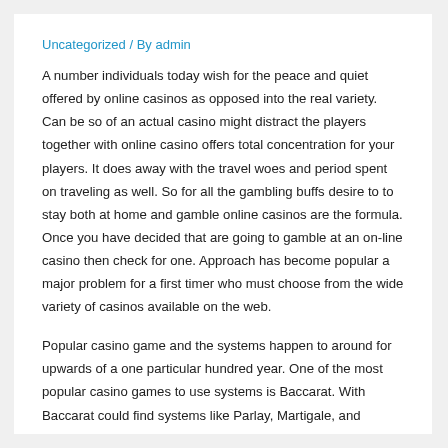Uncategorized / By admin
A number individuals today wish for the peace and quiet offered by online casinos as opposed into the real variety. Can be so of an actual casino might distract the players together with online casino offers total concentration for your players. It does away with the travel woes and period spent on traveling as well. So for all the gambling buffs desire to to stay both at home and gamble online casinos are the formula. Once you have decided that are going to gamble at an on-line casino then check for one. Approach has become popular a major problem for a first timer who must choose from the wide variety of casinos available on the web.
Popular casino game and the systems happen to around for upwards of a one particular hundred year. One of the most popular casino games to use systems is Baccarat. With Baccarat could find systems like Parlay, Martigale, and D'Alembert to call just several. They are to reduce their incomes on the tipping back seat tillie